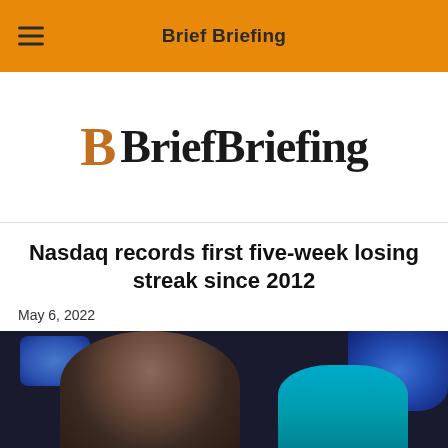Brief Briefing
[Figure (logo): BriefBriefing logo with stylized B in orange/brown serif font followed by BriefBriefing in dark serif font]
Nasdaq records first five-week losing streak since 2012
May 6, 2022
[Figure (photo): Stock exchange floor traders; a man with a mustache in the foreground wearing a headset, another trader in teal/cyan in the background, with blue monitor screens visible]